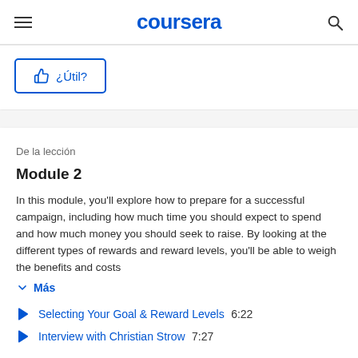coursera
¿Útil?
De la lección
Module 2
In this module, you'll explore how to prepare for a successful campaign, including how much time you should expect to spend and how much money you should seek to raise. By looking at the different types of rewards and reward levels, you'll be able to weigh the benefits and costs
Más
Selecting Your Goal & Reward Levels  6:22
Interview with Christian Strow  7:27